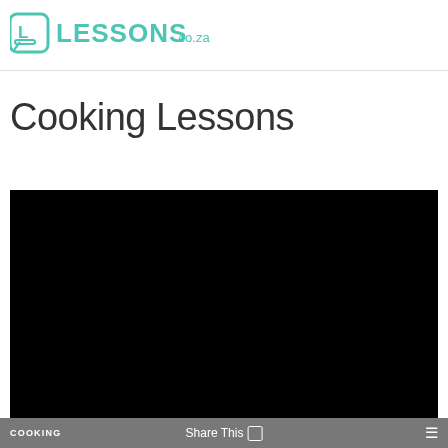LESSONS.co.za
Cooking Lessons
[Figure (screenshot): Black video player area (video not loaded/black screen)]
COOKING   Share This   [share icon]